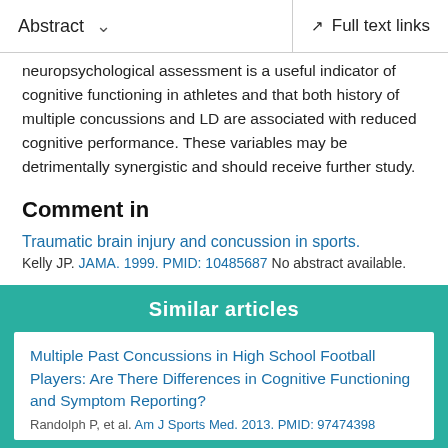Abstract   ∨   Full text links
neuropsychological assessment is a useful indicator of cognitive functioning in athletes and that both history of multiple concussions and LD are associated with reduced cognitive performance. These variables may be detrimentally synergistic and should receive further study.
Comment in
Traumatic brain injury and concussion in sports.
Kelly JP. JAMA. 1999. PMID: 10485687 No abstract available.
Similar articles
Multiple Past Concussions in High School Football Players: Are There Differences in Cognitive Functioning and Symptom Reporting?
Randolph et al. Am J Sports Med. 2013. PMID: 97474398